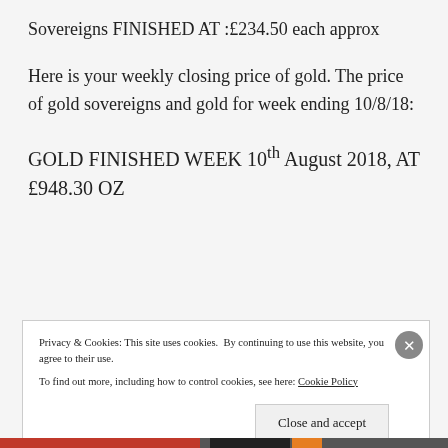Sovereigns FINISHED AT :£234.50 each approx
Here is your weekly closing price of gold. The price of gold sovereigns and gold for week ending 10/8/18:
GOLD FINISHED WEEK 10th August 2018, AT £948.30 OZ
Privacy & Cookies: This site uses cookies. By continuing to use this website, you agree to their use.
To find out more, including how to control cookies, see here: Cookie Policy
Close and accept